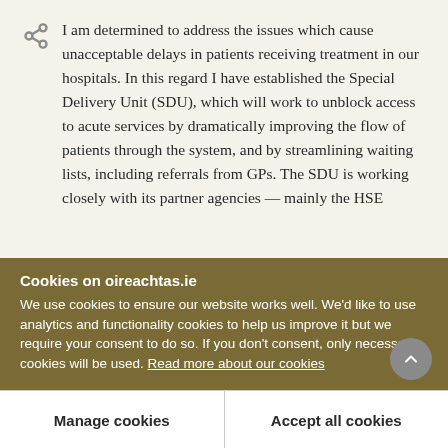I am determined to address the issues which cause unacceptable delays in patients receiving treatment in our hospitals. In this regard I have established the Special Delivery Unit (SDU), which will work to unblock access to acute services by dramatically improving the flow of patients through the system, and by streamlining waiting lists, including referrals from GPs. The SDU is working closely with its partner agencies — mainly the HSE
Cookies on oireachtas.ie
We use cookies to ensure our website works well. We'd like to use analytics and functionality cookies to help us improve it but we require your consent to do so. If you don't consent, only necessary cookies will be used. Read more about our cookies
Manage cookies
Accept all cookies